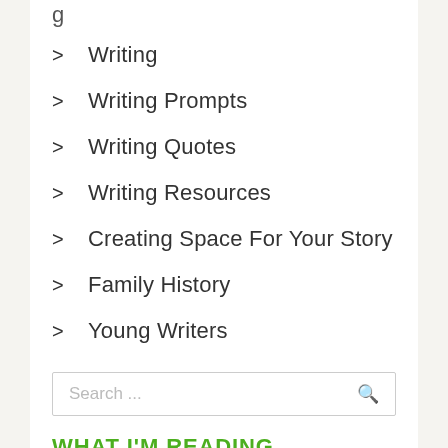> Writing
> Writing Prompts
> Writing Quotes
> Writing Resources
> Creating Space For Your Story
> Family History
> Young Writers
Search ...
WHAT I'M READING
[Figure (illustration): Partial image strip at bottom, green/teal colored]